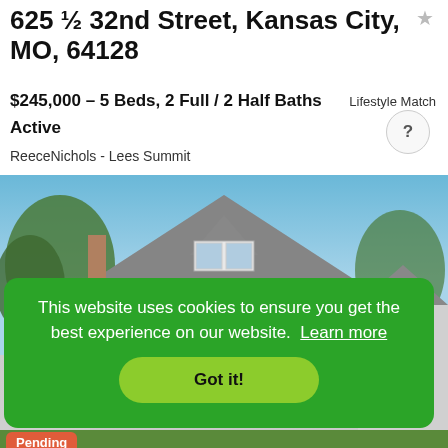625 ½ 32nd Street, Kansas City, MO, 64128
$245,000 – 5 Beds, 2 Full / 2 Half Baths
Active
ReeceNichols - Lees Summit
Lifestyle Match
[Figure (photo): Exterior photo of a two-story gray house with steep roof, dormers, and white trim, against a blue sky with trees]
This website uses cookies to ensure you get the best experience on our website. Learn more
Got it!
Pending